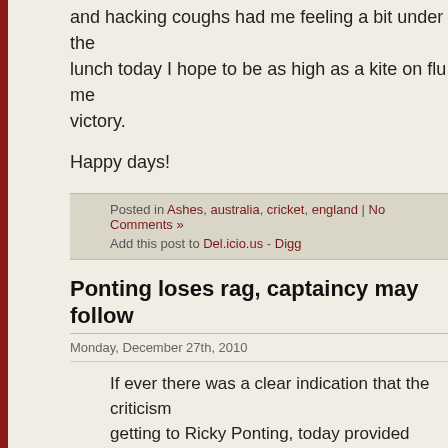and hacking coughs had me feeling a bit under the lunch today I hope to be as high as a kite on flu me victory.
Happy days!
Posted in Ashes, australia, cricket, england | No Comments »
Add this post to Del.icio.us - Digg
Ponting loses rag, captaincy may follow
Monday, December 27th, 2010
If ever there was a clear indication that the criticism getting to Ricky Ponting, today provided stark and u
On a day on which England ended 5 wickets down advantage and a 150-plus partnership between red Jonathan Trott and resurgent keeper Matt Prior, Ric frustrations boil over on the field when a caught-beh the wicket of Kevin Pietersen was turned down and
Hotspot showed no edge and so it was difficult to s